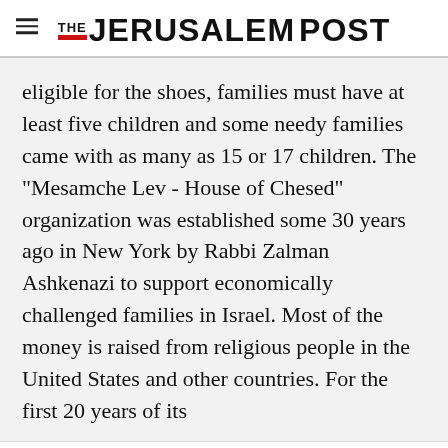THE JERUSALEM POST
eligible for the shoes, families must have at least five children and some needy families came with as many as 15 or 17 children. The "Mesamche Lev - House of Chesed" organization was established some 30 years ago in New York by Rabbi Zalman Ashkenazi to support economically challenged families in Israel. Most of the money is raised from religious people in the United States and other countries. For the first 20 years of its
Advertisement